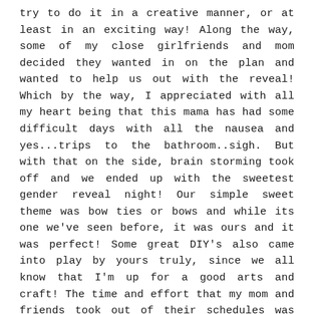try to do it in a creative manner, or at least in an exciting way! Along the way, some of my close girlfriends and mom decided they wanted in on the plan and wanted to help us out with the reveal! Which by the way, I appreciated with all my heart being that this mama has had some difficult days with all the nausea and yes...trips to the bathroom..sigh. But with that on the side, brain storming took off and we ended up with the sweetest gender reveal night! Our simple sweet theme was bow ties or bows and while its one we've seen before, it was ours and it was perfect! Some great DIY's also came into play by yours truly, since we all know that I'm up for a good arts and craft! The time and effort that my mom and friends took out of their schedules was just a huge meaning of